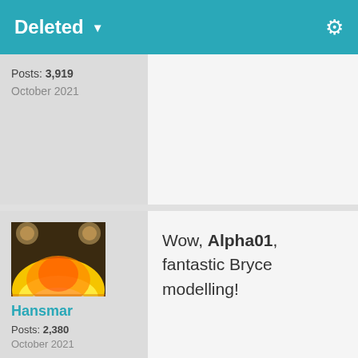Deleted
Posts: 3,919
October 2021
[Figure (photo): Avatar image of Hansmar showing warm orange/yellow 3D render scene]
Hansmar
Posts: 2,380
October 2021
Wow, Alpha01, fantastic Bryce modelling!
[Figure (photo): Avatar image showing a 3D rendered female character with red curly hair]
very well done Alpha1 👍